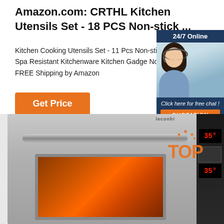Amazon.com: CRTHL Kitchen Utensils Set - 18 PCS Non-stick ...
Kitchen Cooking Utensils Set - 11 Pcs Non-stick Silicone Cooking Kitchen Utensils Spa Resistant Kitchenware Kitchen Gadge Nonstick Cookware, BPA Free 6 $45.9 FREE Shipping by Amazon
[Figure (screenshot): Orange 'Get Price' button]
[Figure (screenshot): Ad widget with '24/7 Online', woman with headset, 'Click here for free chat!' and orange QUOTATION button]
[Figure (photo): Commercial oven with stainless steel body, handle bar, orange-glowing window, dark right control panel with red LED displays showing 35 degrees, and orange TOP watermark overlay]